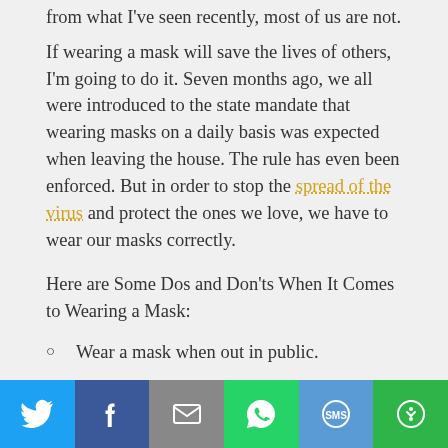from what I've seen recently, most of us are not.
If wearing a mask will save the lives of others, I'm going to do it. Seven months ago, we all were introduced to the state mandate that wearing masks on a daily basis was expected when leaving the house. The rule has even been enforced. But in order to stop the spread of the virus and protect the ones we love, we have to wear our masks correctly.
Here are Some Dos and Don'ts When It Comes to Wearing a Mask:
Wear a mask when out in public.
Wear a mask if you'll be in close contact with someone who isn't family.
Social share bar: Twitter, Facebook, Email, WhatsApp, SMS, More